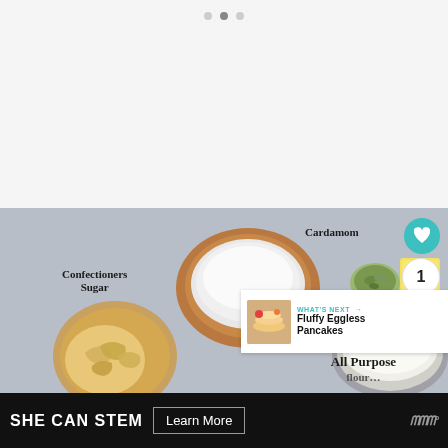[Figure (other): Pagination dots — three circles, middle slightly darker]
[Figure (photo): Flat-lay food photo on gray stone surface showing: a wooden bowl of confectioners sugar, a small bowl of cardamom seeds, a stick of butter, a large round tin of all-purpose flour, and a wooden bowl of cashews. Labels on photo: Confectioners Sugar, Cardamom, Butt[er], All Purpose [Flour], cashews unlabeled.]
Confectioners Sugar
Cardamom
Butt[er]
All Purpose [Flour]
WHAT'S NEXT → Fluffy Eggless Pancakes
SHE CAN STEM
Learn More